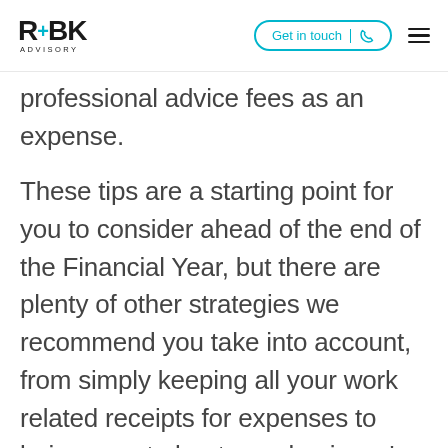RBK Advisory — Get in touch
professional advice fees as an expense.
These tips are a starting point for you to consider ahead of the end of the Financial Year, but there are plenty of other strategies we recommend you take into account, from simply keeping all your work related receipts for expenses to being smart about your business' assets by doing an accurate stock take and